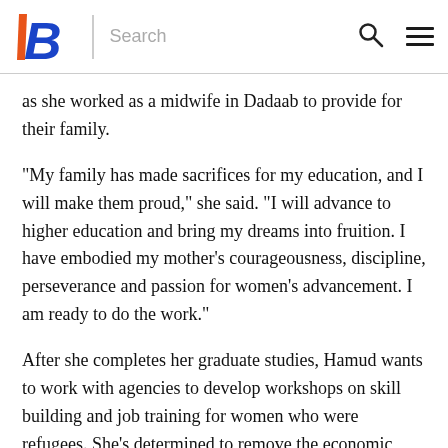Boise State University — Search navigation header
as she worked as a midwife in Dadaab to provide for their family.
“My family has made sacrifices for my education, and I will make them proud,” she said. “I will advance to higher education and bring my dreams into fruition. I have embodied my mother’s courageousness, discipline, perseverance and passion for women’s advancement. I am ready to do the work.”
After she completes her graduate studies, Hamud wants to work with agencies to develop workshops on skill building and job training for women who were refugees. She’s determined to remove the economic barriers that currently exist for refugees by providing women with the opportunity to grow and strengthen